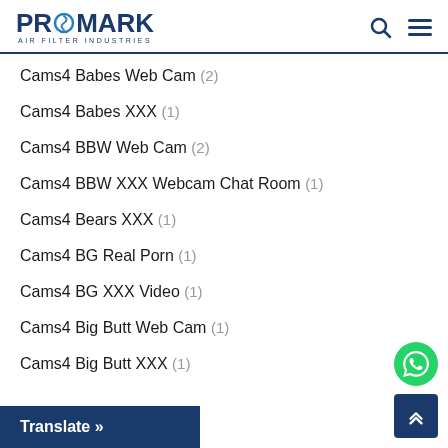PROMARK AIR FILTER INDUSTRIES
Cams4 Babes Web Cam (2)
Cams4 Babes XXX (1)
Cams4 BBW Web Cam (2)
Cams4 BBW XXX Webcam Chat Room (1)
Cams4 Bears XXX (1)
Cams4 BG Real Porn (1)
Cams4 BG XXX Video (1)
Cams4 Big Butt Web Cam (1)
Cams4 Big Butt XXX (1)
Translate »